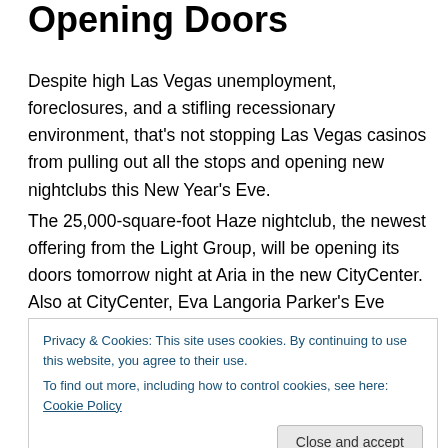Opening Doors
Despite high Las Vegas unemployment, foreclosures, and a stifling recessionary environment, that's not stopping Las Vegas casinos from pulling out all the stops and opening new nightclubs this New Year's Eve.
The 25,000-square-foot Haze nightclub, the newest offering from the Light Group, will be opening its doors tomorrow night at Aria in the new CityCenter.  Also at CityCenter, Eva Langoria Parker's Eve nightclub will be opening.
Privacy & Cookies: This site uses cookies. By continuing to use this website, you agree to their use.
To find out more, including how to control cookies, see here: Cookie Policy
The 14,000-square-foot Vanity nightclub – featuring a $1